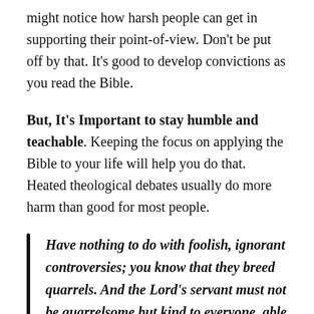might notice how harsh people can get in supporting their point-of-view. Don't be put off by that. It's good to develop convictions as you read the Bible.
But, It's Important to stay humble and teachable. Keeping the focus on applying the Bible to your life will help you do that. Heated theological debates usually do more harm than good for most people.
Have nothing to do with foolish, ignorant controversies; you know that they breed quarrels. And the Lord's servant must not be quarrelsome but kind to everyone, able to teach, patiently enduring evil, correcting his opponents with gentleness...